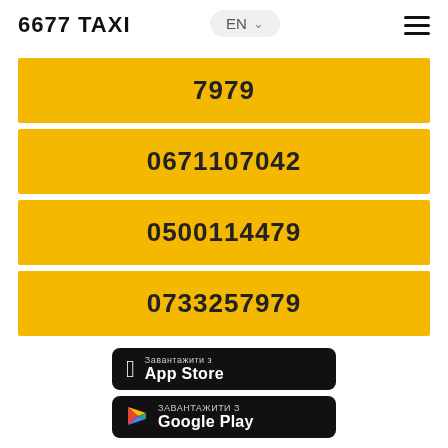6677 TAXI
7979
0671107042
0500114479
0733257979
[Figure (screenshot): App Store download button with Ukrainian text 'Завантажити з App Store']
[Figure (screenshot): Google Play download button with Ukrainian text 'ЗАВАНТАЖИТИ З Google Play']
[Figure (photo): City street photo with billboards and taxi traffic]